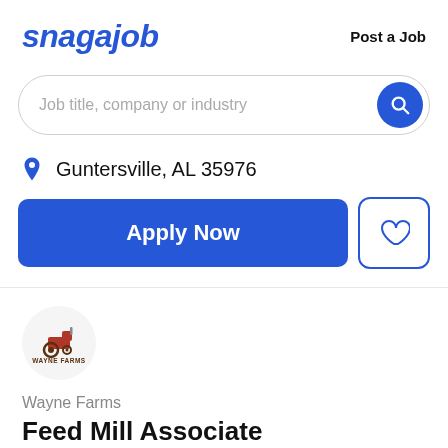snagajob
Post a Job
Job title, company or industry
Guntersville, AL 35976
Apply Now
[Figure (logo): Wayne Farms company logo — circular background with tractor and 'WAYNE FARMS' text]
Wayne Farms
Feed Mill Associate